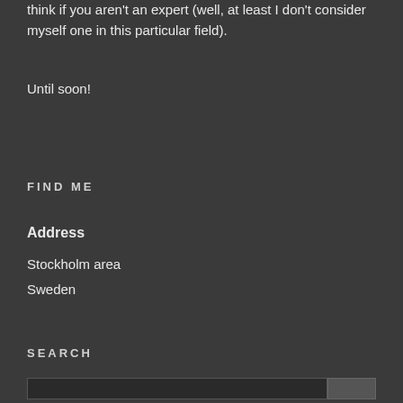think if you aren't an expert (well, at least I don't consider myself one in this particular field).
Until soon!
FIND ME
Address
Stockholm area
Sweden
SEARCH